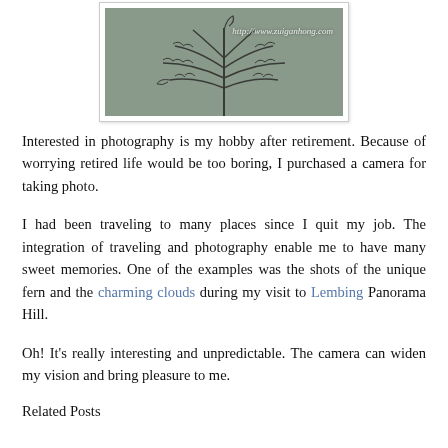[Figure (photo): A close-up photograph of a unique fern plant with dark fronds against a grey background, with a watermark reading http://www.zuiganhong.com]
Interested in photography is my hobby after retirement. Because of worrying retired life would be too boring, I purchased a camera for taking photo.
I had been traveling to many places since I quit my job. The integration of traveling and photography enable me to have many sweet memories. One of the examples was the shots of the unique fern and the charming clouds during my visit to Lembing Panorama Hill.
Oh! It's really interesting and unpredictable. The camera can widen my vision and bring pleasure to me.
Related Posts